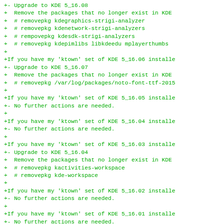+- Upgrade to KDE 5_16.08
+  Remove the packages that no longer exist in KDE
+  # removepkg kdegraphics-strigi-analyzer
+  # removepkg kdenetwork-strigi-analyzers
+  # rempovepkg kdesdk-strigi-analyzers
+  # removepkg kdepimlibs libkdeedu mplayerthumbs
+
+If you have my 'ktown' set of KDE 5_16.06 installe
+- Upgrade to KDE 5_16.07
+  Remove the packages that no longer exist in KDE
+  # removepkg /var/log/packages/noto-font-ttf-2015
+
+If you have my 'ktown' set of KDE 5_16.05 installe
+- No further actions are needed.
+
+If you have my 'ktown' set of KDE 5_16.04 installe
+- No further actions are needed.
+
+If you have my 'ktown' set of KDE 5_16.03 installe
+- Upgrade to KDE 5_16.04
+  Remove the packages that no longer exist in KDE
+  # removepkg kactivities-workspace
+  # removepkg kde-workspace
+
+If you have my 'ktown' set of KDE 5_16.02 installe
+- No further actions are needed.
+
+If you have my 'ktown' set of KDE 5_16.01 installe
+- No further actions are needed.
+
+If you have my 'ktown' set older than KDE 5_16.01